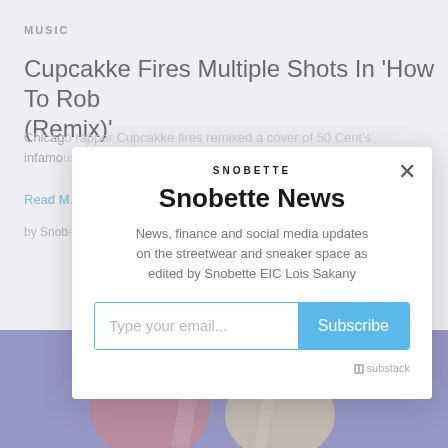MUSIC
Cupcakke Fires Multiple Shots In 'How To Rob (Remix)'
Chicago rapper Cupcakke fires remixed a cover of 50 Cent's infamous...
Read M...
by Snob...
[Figure (photo): Concert photo of performers on stage with purple/blue lighting]
SNOBETTE
Snobette News
News, finance and social media updates on the streetwear and sneaker space as edited by Snobette EIC Lois Sakany
Type your email...
Subscribe
⊞ substack